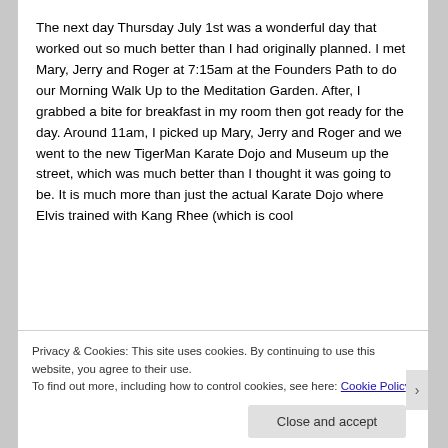The next day Thursday July 1st was a wonderful day that worked out so much better than I had originally planned. I met Mary, Jerry and Roger at 7:15am at the Founders Path to do our Morning Walk Up to the Meditation Garden. After, I grabbed a bite for breakfast in my room then got ready for the day. Around 11am, I picked up Mary, Jerry and Roger and we went to the new TigerMan Karate Dojo and Museum up the street, which was much better than I thought it was going to be. It is much more than just the actual Karate Dojo where Elvis trained with Kang Rhee (which is cool
Privacy & Cookies: This site uses cookies. By continuing to use this website, you agree to their use.
To find out more, including how to control cookies, see here: Cookie Policy